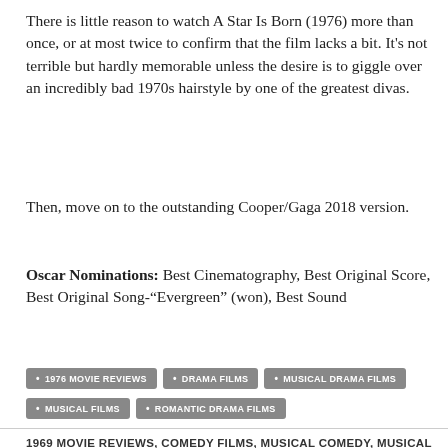There is little reason to watch A Star Is Born (1976) more than once, or at most twice to confirm that the film lacks a bit. It's not terrible but hardly memorable unless the desire is to giggle over an incredibly bad 1970s hairstyle by one of the greatest divas.
Then, move on to the outstanding Cooper/Gaga 2018 version.
Oscar Nominations: Best Cinematography, Best Original Score, Best Original Song-“Evergreen” (won), Best Sound
1976 MOVIE REVIEWS
DRAMA FILMS
MUSICAL DRAMA FILMS
MUSICAL FILMS
ROMANTIC DRAMA FILMS
1969 MOVIE REVIEWS, COMEDY FILMS, MUSICAL COMEDY, MUSICAL FILMS